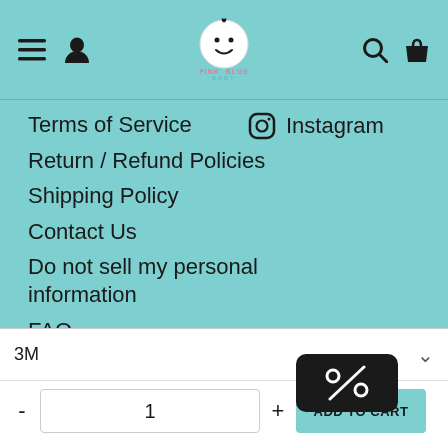Pink Blue Baby — navigation header with menu, profile, logo, search, and cart icons
Terms of Service
Instagram
Return / Refund Policies
Shipping Policy
Contact Us
Do not sell my personal information
FAQ
Terms of Service
Refund polic... (partially visible)
3M
1
ADD TO CART
[Figure (other): Discount percent badge (black rounded rectangle with % icon)]